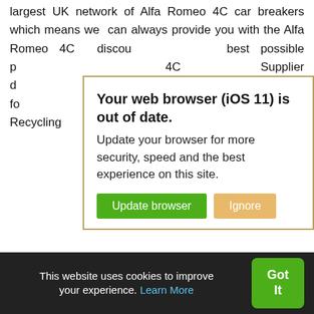largest UK network of Alfa Romeo 4C car breakers which means we can always provide you with the Alfa Romeo 4C discou... best possible p... 4C Supplier d... icial website fo... uto Recycling...
[Figure (screenshot): Browser update modal dialog with yellow border. Title: 'Your web browser (iOS 11) is out of date.' Body: 'Update your browser for more security, speed and the best experience on this site.' Two buttons: 'Update browser' (green) and 'Ignore' (orange/tan).]
UK ONLINE Alfa Romeo 4C seat belts:
All Used Alfa Romeo 4C seat belts stocked through our network are 100% guaranteed which means we offer you a first class service as one of our valued customers and have a whole range of Seat belts [including buckle, pad,
This website uses cookies to improve your experience. Learn More
Got It